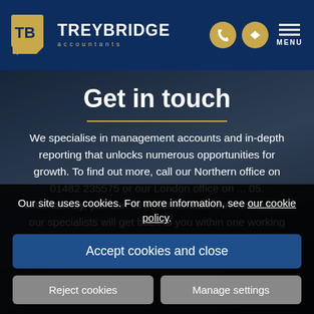[Figure (logo): Treybridge Accountants logo with gold TB icon and navigation bar on dark navy background including phone icon, message icon, and MENU button]
Get in touch
We specialise in management accounts and in-depth reporting that unlocks numerous opportunities for growth. To find out more, call our Northern office on 01482 235575 or our London office on ... 05. Alternatively, you can fill in our contact form and one of our specialists will get back to you within one working day.
Our site uses cookies. For more information, see our cookie policy.
Accept cookies and close
Reject cookies
Manage settings